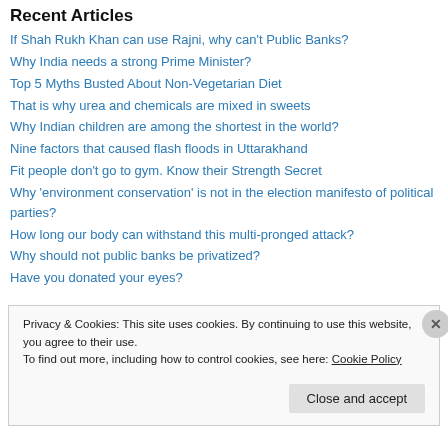Recent Articles
If Shah Rukh Khan can use Rajni, why can't Public Banks?
Why India needs a strong Prime Minister?
Top 5 Myths Busted About Non-Vegetarian Diet
That is why urea and chemicals are mixed in sweets
Why Indian children are among the shortest in the world?
Nine factors that caused flash floods in Uttarakhand
Fit people don't go to gym. Know their Strength Secret
Why 'environment conservation' is not in the election manifesto of political parties?
How long our body can withstand this multi-pronged attack?
Why should not public banks be privatized?
Have you donated your eyes?
Privacy & Cookies: This site uses cookies. By continuing to use this website, you agree to their use.
To find out more, including how to control cookies, see here: Cookie Policy
Close and accept